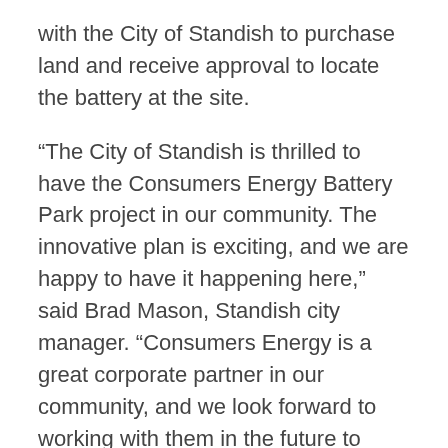with the City of Standish to purchase land and receive approval to locate the battery at the site.
“The City of Standish is thrilled to have the Consumers Energy Battery Park project in our community. The innovative plan is exciting, and we are happy to have it happening here,” said Brad Mason, Standish city manager. “Consumers Energy is a great corporate partner in our community, and we look forward to working with them in the future to meet the needs of our residents.”
Consumers Energy is already using batteries in two other areas of the state — Grand Rapids and Kalamazoo — but this is the first transportable battery to be installed. The benefit of a transportable battery is that it can be moved to